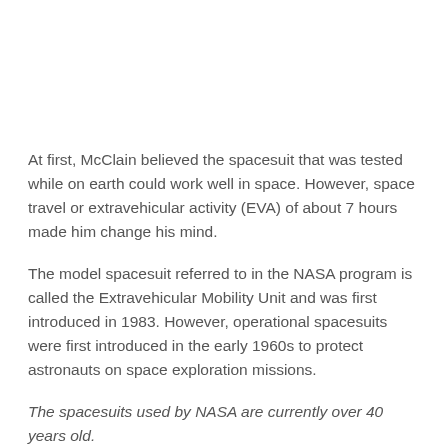At first, McClain believed the spacesuit that was tested while on earth could work well in space. However, space travel or extravehicular activity (EVA) of about 7 hours made him change his mind.
The model spacesuit referred to in the NASA program is called the Extravehicular Mobility Unit and was first introduced in 1983. However, operational spacesuits were first introduced in the early 1960s to protect astronauts on space exploration missions.
The spacesuits used by NASA are currently over 40 years old.